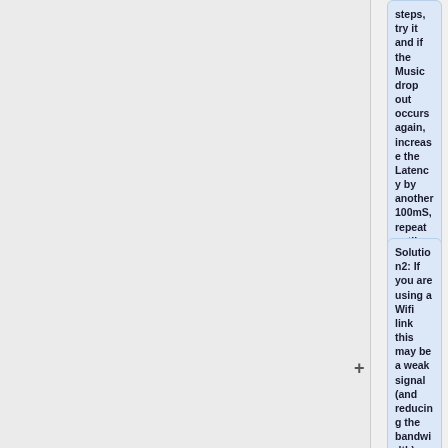steps, try it and if the Music drop out occurs again, increase the Latency by another 100mS, repeat until the drop outs stop. <br><br>
Solution2: If you are using a Wifi link this may be a weak signal (and reducing the bandwidth) or there is another Wifi device broadcasting on the same channel. Either change the Wifi Channel, get a